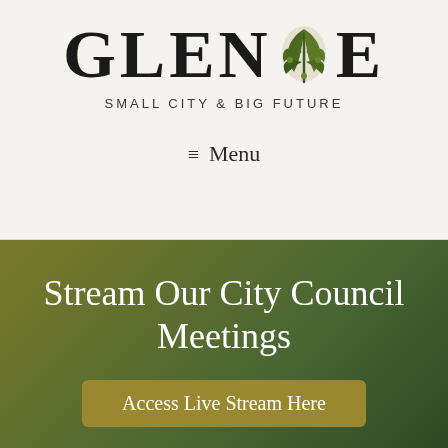[Figure (logo): Glencoe city logo with leaf/botanical illustration replacing the two O letters in GLENCOE, with tagline SMALL CITY & BIG FUTURE below]
≡ Menu
Stream Our City Council Meetings
Access Live Stream Here